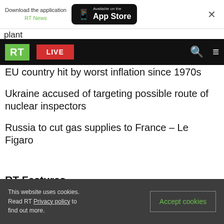[Figure (screenshot): App download banner with RT News text and App Store button]
plant
[Figure (screenshot): RT website navigation bar with green RT logo, red LIVE button, search and menu icons on black background]
EU country hit by worst inflation since 1970s
Ukraine accused of targeting possible route of nuclear inspectors
Russia to cut gas supplies to France – Le Figaro
RT Features
This website uses cookies. Read RT Privacy policy to find out more.